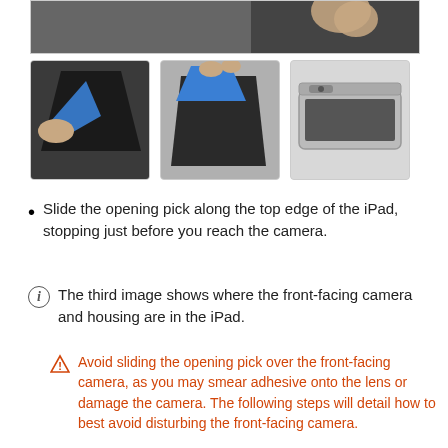[Figure (photo): Partial view of a hand holding an iPad with an opening pick tool at the top edge, dark background]
[Figure (photo): Close-up of hand using a blue opening pick along the edge of a dark iPad]
[Figure (photo): Hand using a blue opening pick along the edge of a dark tablet, wider view]
[Figure (photo): Close-up of iPad top edge showing front-facing camera housing location]
Slide the opening pick along the top edge of the iPad, stopping just before you reach the camera.
The third image shows where the front-facing camera and housing are in the iPad.
Avoid sliding the opening pick over the front-facing camera, as you may smear adhesive onto the lens or damage the camera. The following steps will detail how to best avoid disturbing the front-facing camera.